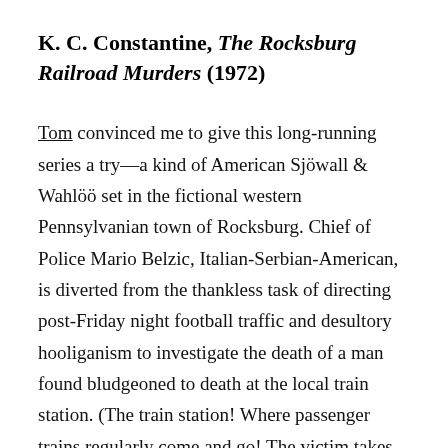K. C. Constantine, The Rocksburg Railroad Murders (1972)
Tom convinced me to give this long-running series a try—a kind of American Sjöwall & Wahlöö set in the fictional western Pennsylvanian town of Rocksburg. Chief of Police Mario Belzic, Italian-Serbian-American, is diverted from the thankless task of directing post-Friday night football traffic and desultory hooliganism to investigate the death of a man found bludgeoned to death at the local train station. (The train station! Where passenger trains regularly come and go! The victim takes the train to